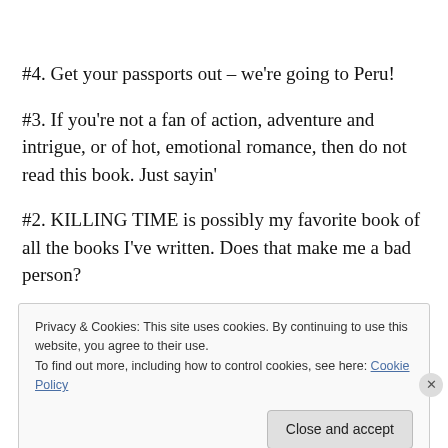#4.  Get your passports out – we’re going to Peru!
#3. If you’re not a fan of action, adventure and intrigue, or of hot, emotional romance, then do not read this book. Just sayin’
#2.  KILLING TIME is possibly my favorite book of all the books I’ve written.  Does that make me a bad person?
Privacy & Cookies: This site uses cookies. By continuing to use this website, you agree to their use.
To find out more, including how to control cookies, see here: Cookie Policy
Close and accept